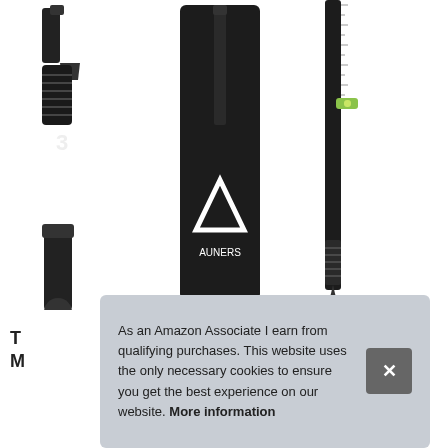[Figure (photo): Product photo of Auners multi-function pen tool showing: ballpoint pen tip, stylus tip, flathead screwdriver bit, pen box with Auners logo, and full assembled pen with ruler markings and spirit level]
As an Amazon Associate I earn from qualifying purchases. This website uses the only necessary cookies to ensure you get the best experience on our website. More information